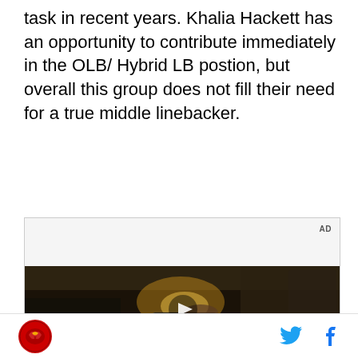task in recent years. Khalia Hackett has an opportunity to contribute immediately in the OLB/ Hybrid LB postion, but overall this group does not fill their need for a true middle linebacker.
[Figure (screenshot): Advertisement placeholder area with 'AD' label at top right, followed by a video player showing a dark car interior scene with a woman holding a foldable phone. Overlay text reads 'Unfold your world' with a play button in the center. Golden flare/light effect visible.]
Sports site footer with team logo on left and Twitter/Facebook social media icons on right